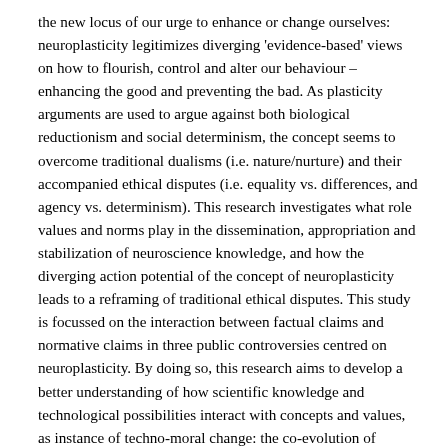the new locus of our urge to enhance or change ourselves: neuroplasticity legitimizes diverging 'evidence-based' views on how to flourish, control and alter our behaviour – enhancing the good and preventing the bad. As plasticity arguments are used to argue against both biological reductionism and social determinism, the concept seems to overcome traditional dualisms (i.e. nature/nurture) and their accompanied ethical disputes (i.e. equality vs. differences, and agency vs. determinism). This research investigates what role values and norms play in the dissemination, appropriation and stabilization of neuroscience knowledge, and how the diverging action potential of the concept of neuroplasticity leads to a reframing of traditional ethical disputes. This study is focussed on the interaction between factual claims and normative claims in three public controversies centred on neuroplasticity. By doing so, this research aims to develop a better understanding of how scientific knowledge and technological possibilities interact with concepts and values, as instance of techno-moral change: the co-evolution of techno-science and morality.